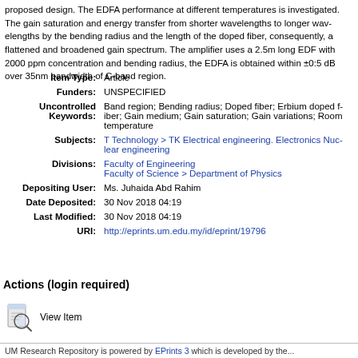proposed design. The EDFA performance at different temperatures is investigated. The gain saturation and energy transfer from shorter wavelengths to longer wavelengths by the bending radius and the length of the doped fiber, consequently, a flattened and broadened gain spectrum. The amplifier uses a 2.5m long EDF with 2000 ppm concentration and bending radius and the EDFA is obtained within ±0:5 dB over 35nm bandwidth of C-band region.
| Field | Value |
| --- | --- |
| Item Type: | Article |
| Funders: | UNSPECIFIED |
| Uncontrolled Keywords: | Band region; Bending radius; Doped fiber; Erbium doped fiber; Gain medium; Gain saturation; Gain variations; Room temperature |
| Subjects: | T Technology > TK Electrical engineering. Electronics Nuclear engineering |
| Divisions: | Faculty of Engineering
Faculty of Science > Department of Physics |
| Depositing User: | Ms. Juhaida Abd Rahim |
| Date Deposited: | 30 Nov 2018 04:19 |
| Last Modified: | 30 Nov 2018 04:19 |
| URI: | http://eprints.um.edu.my/id/eprint/19796 |
Actions (login required)
[Figure (illustration): View Item icon - magnifying glass over a document]
View Item
UM Research Repository is powered by EPrints 3 which is developed by...